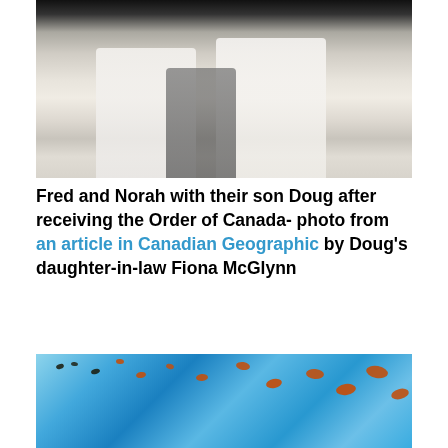[Figure (photo): Black and white photo of Fred and Norah with their son Doug after receiving the Order of Canada]
Fred and Norah with their son Doug after receiving the Order of Canada- photo from an article in Canadian Geographic by Doug's daughter-in-law Fiona McGlynn
Fred and Norah Urquhart were given the Order of Canada in 1998 for their amazing discovery. Of course, Indigenous people in Mexico had known about the butterfly roosts for thousands of years.
[Figure (photo): Photo of monarch butterflies flying against a blue sky background]